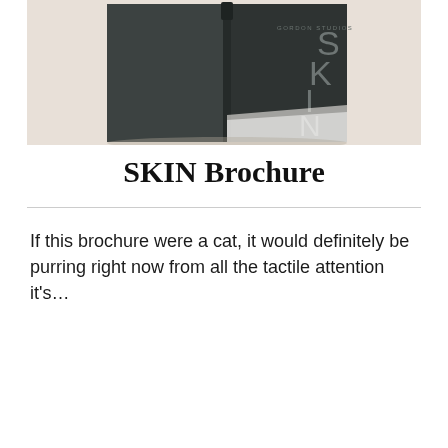[Figure (photo): A dark gray/charcoal colored booklet or brochure with 'SKIN' lettering on the cover, photographed against a light background with soft shadows.]
SKIN Brochure
If this brochure were a cat, it would definitely be purring right now from all the tactile attention it's…